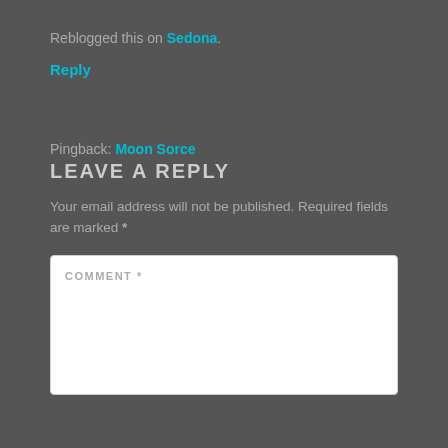Reblogged this on Sedona.
Reply
Pingback: Moon Sorce
LEAVE A REPLY
Your email address will not be published. Required fields are marked *
COMMENT *